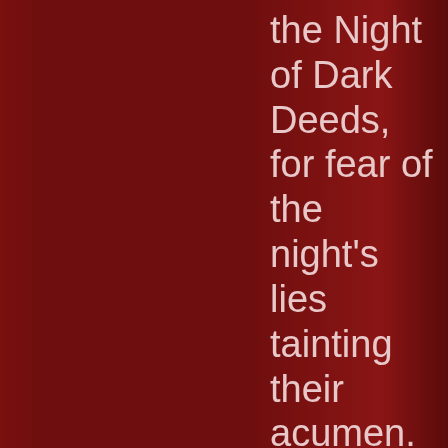the Night of Dark Deeds, for fear of the night's lies tainting their acumen. No one is ever